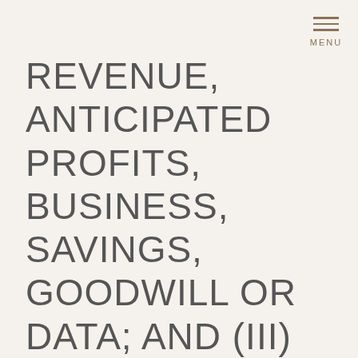MENU
REVENUE, ANTICIPATED PROFITS, BUSINESS, SAVINGS, GOODWILL OR DATA; AND (III) THIRD PARTY THEFT OF, DESTRUCTION OF, UNAUTHORIZED ACCESS TO, ALTERATION OF, OR USE OF YOUR INFORMATION OR PROPERTY, REGARDLESS OF OUR NEGLIGENCE, GROSS NEGLIGENCE, FAILURE OF AN ESSENTIAL PURPOSE AND WHETHER SUCH LIABILITY